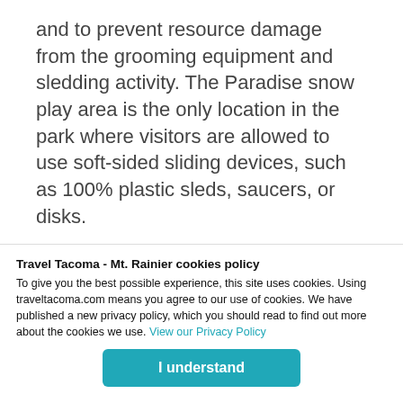and to prevent resource damage from the grooming equipment and sledding activity. The Paradise snow play area is the only location in the park where visitors are allowed to use soft-sided sliding devices, such as 100% plastic sleds, saucers, or disks.
Beginning Saturday, December 21, the Henry M. Jackson Memorial Visitor Center at Paradise is open throughout the winter on Saturdays, Sundays, and holidays, from 10:00 am to 4:15 pm
Travel Tacoma - Mt. Rainier cookies policy
To give you the best possible experience, this site uses cookies. Using traveltacoma.com means you agree to our use of cookies. We have published a new privacy policy, which you should read to find out more about the cookies we use. View our Privacy Policy